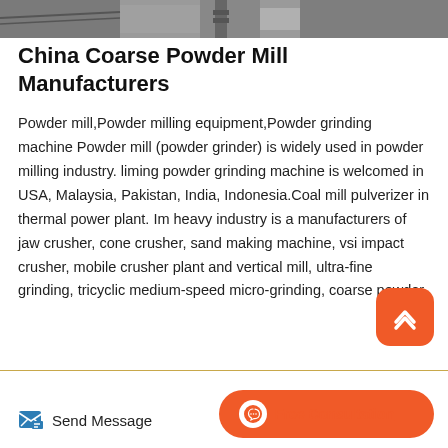[Figure (photo): Top banner image showing industrial powder mill / mining equipment machinery]
China Coarse Powder Mill Manufacturers
Powder mill,Powder milling equipment,Powder grinding machine Powder mill (powder grinder) is widely used in powder milling industry. liming powder grinding machine is welcomed in USA, Malaysia, Pakistan, India, Indonesia.Coal mill pulverizer in thermal power plant. Im heavy industry is a manufacturers of jaw crusher, cone crusher, sand making machine, vsi impact crusher, mobile crusher plant and vertical mill, ultra-fine grinding, tricyclic medium-speed micro-grinding, coarse powder.
Send Message   Free Consultation